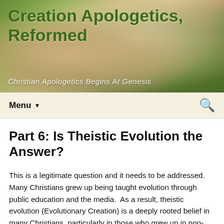[Figure (photo): Website header image showing hands resting on an open Bible on grass, with the site title 'Creation Apologetics, Reformed' in bold green text and tagline 'Christian Apologetics Begins At Genesis' overlaid]
Menu ▼  🔍
Part 6: Is Theistic Evolution the Answer?
This is a legitimate question and it needs to be addressed. Many Christians grew up being taught evolution through public education and the media.  As a result, theistic evolution (Evolutionary Creation) is a deeply rooted belief in many Christians, particularly in those who grew up in non-Christian homes.